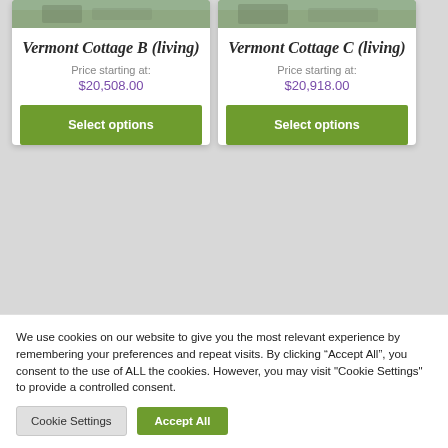Vermont Cottage B (living)
Price starting at:
$20,508.00
Vermont Cottage C (living)
Price starting at:
$20,918.00
We use cookies on our website to give you the most relevant experience by remembering your preferences and repeat visits. By clicking “Accept All”, you consent to the use of ALL the cookies. However, you may visit "Cookie Settings" to provide a controlled consent.